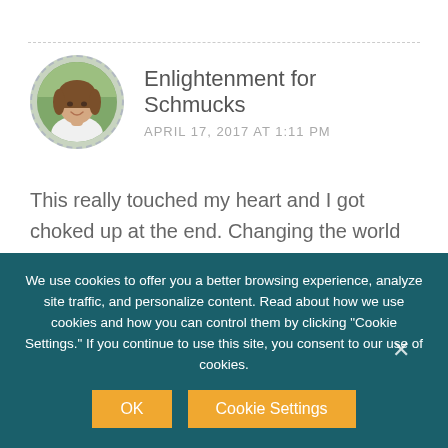[Figure (photo): Circular avatar photo of a woman with short brown hair, wearing white, with a dashed circular border, against an outdoor background]
Enlightenment for Schmucks
APRIL 17, 2017 AT 1:11 PM
This really touched my heart and I got choked up at the end. Changing the world seems so overwhelming to think about, but that energy of compassion and kindness really is bigger than any negativity, and lights up the darkest corners.
We use cookies to offer you a better browsing experience, analyze site traffic, and personalize content. Read about how we use cookies and how you can control them by clicking "Cookie Settings." If you continue to use this site, you consent to our use of cookies.